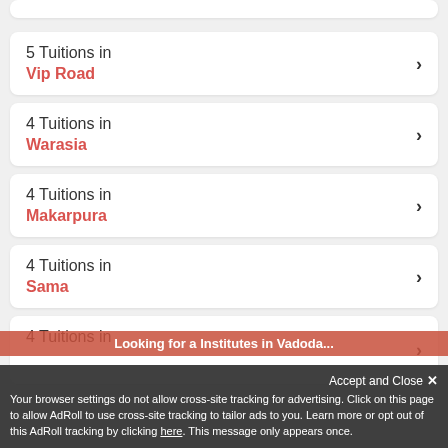5 Tuitions in Vip Road
4 Tuitions in Warasia
4 Tuitions in Makarpura
4 Tuitions in Sama
4 Tuitions in (partial)
Looking for a Institutes in Vadoda...
Accept and Close ✕
Your browser settings do not allow cross-site tracking for advertising. Click on this page to allow AdRoll to use cross-site tracking to tailor ads to you. Learn more or opt out of this AdRoll tracking by clicking here. This message only appears once.